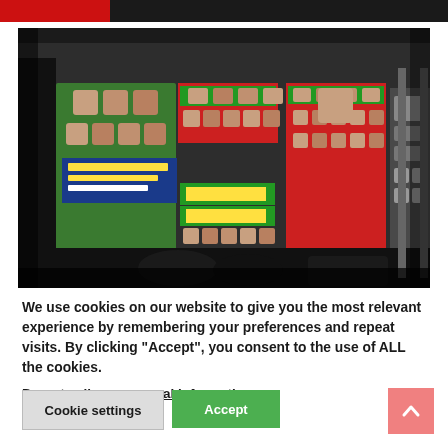[Figure (photo): A wall covered with Thai Muay Thai boxing event posters showing fighter portraits and Thai text, with equipment bags on the floor in front.]
We use cookies on our website to give you the most relevant experience by remembering your preferences and repeat visits. By clicking “Accept”, you consent to the use of ALL the cookies.
Do not sell my personal information.